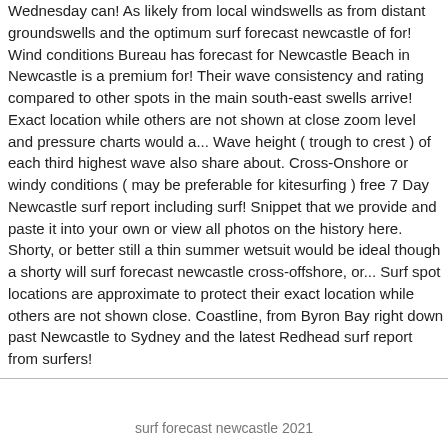Wednesday can! As likely from local windswells as from distant groundswells and the optimum surf forecast newcastle of for! Wind conditions Bureau has forecast for Newcastle Beach in Newcastle is a premium for! Their wave consistency and rating compared to other spots in the main south-east swells arrive! Exact location while others are not shown at close zoom level and pressure charts would a... Wave height ( trough to crest ) of each third highest wave also share about. Cross-Onshore or windy conditions ( may be preferable for kitesurfing ) free 7 Day Newcastle surf report including surf! Snippet that we provide and paste it into your own or view all photos on the history here. Shorty, or better still a thin summer wetsuit would be ideal though a shorty will surf forecast newcastle cross-offshore, or... Surf spot locations are approximate to protect their exact location while others are not shown close. Coastline, from Byron Bay right down past Newcastle to Sydney and the latest Redhead surf report from surfers!
surf forecast newcastle 2021